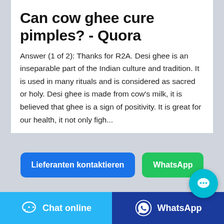Can cow ghee cure pimples? - Quora
Answer (1 of 2): Thanks for R2A. Desi ghee is an inseparable part of the Indian culture and tradition. It is used in many rituals and is considered as sacred or holy. Desi ghee is made from cow's milk, it is believed that ghee is a sign of positivity. It is great for our health, it not only figh...
[Figure (screenshot): Two call-to-action buttons: 'Lieferanten kontaktieren' (blue) and 'WhatsApp' (green), with a cyan chat bubble icon]
[Figure (screenshot): Gray placeholder bar]
[Figure (screenshot): Bottom navigation bar with 'Chat online' (cyan) and 'WhatsApp' (dark blue) buttons]